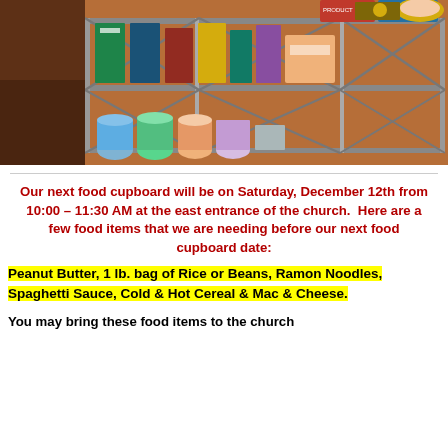[Figure (photo): Photo of a food pantry/cupboard with metal wire shelving units holding various canned goods, bags of food, and packaged food items. Warm brown/orange tones in the background.]
Our next food cupboard will be on Saturday, December 12th from 10:00 – 11:30 AM at the east entrance of the church.  Here are a few food items that we are needing before our next food cupboard date:
Peanut Butter, 1 lb. bag of Rice or Beans, Ramon Noodles, Spaghetti Sauce, Cold & Hot Cereal & Mac & Cheese.
You may bring these food items to the church